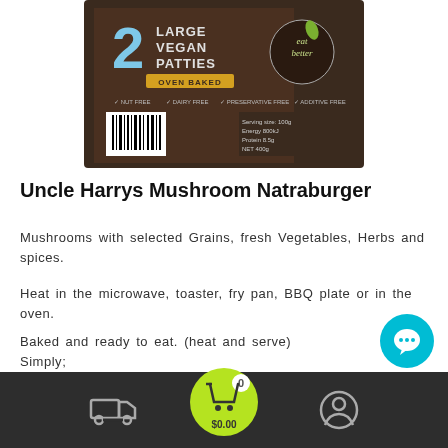[Figure (photo): Product packaging for Uncle Harrys Mushroom Natraburger — dark brown box showing '2 Large Vegan Patties Oven Baked' with 'eat better' logo and various certifications]
Uncle Harrys Mushroom Natraburger
Mushrooms with selected Grains, fresh Vegetables, Herbs and spices.
Heat in the microwave, toaster, fry pan, BBQ plate or in the oven.
Baked and ready to eat. (heat and serve) Simply;
As a burger topped with your favourite sauce (Hummus, Ma... BBQ).
As a meal served with veget... alad
[Figure (screenshot): Mobile app bottom navigation bar with delivery truck icon, highlighted cart button (green circle) showing 0 items and $0.00, and user profile icon]
[Figure (screenshot): Teal circular chat support button in bottom right corner]